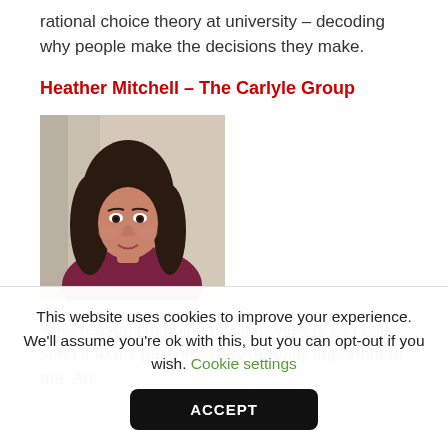rational choice theory at university – decoding why people make the decisions they make.
Heather Mitchell – The Carlyle Group
[Figure (photo): Headshot of Heather Mitchell, a woman with long dark hair, wearing a dark/magenta top, against a light background]
'One reason I'm doing this interview is so I can send it to my parents. They're really important to me. Ah,
This website uses cookies to improve your experience. We'll assume you're ok with this, but you can opt-out if you wish. Cookie settings
ACCEPT